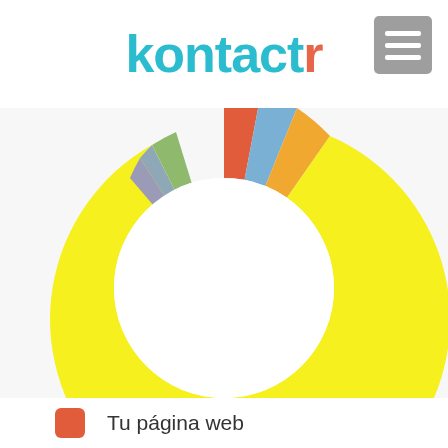kontactr
[Figure (donut-chart): kontactr pie chart]
Tu página web
Sin costo
Gratis
Free
Web
Website
Página web propia
Página de internet propia